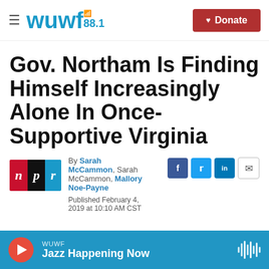WUWF 88.1 | Donate
Gov. Northam Is Finding Himself Increasingly Alone In Once-Supportive Virginia
By Sarah McCammon, Sarah McCammon, Mallory Noe-Payne
Published February 4, 2019 at 10:10 AM CST
WUWF Jazz Happening Now